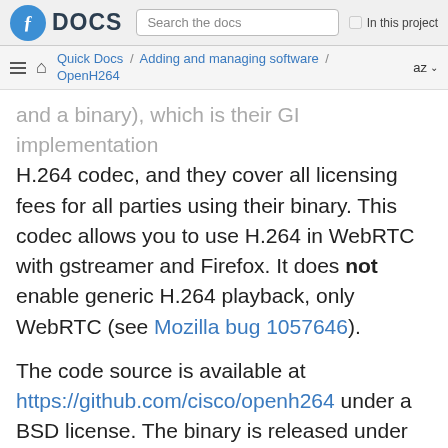Fedora DOCS | Search the docs | In this project
Quick Docs / Adding and managing software / OpenH264   az
and a binary), which is their GI implementation H.264 codec, and they cover all licensing fees for all parties using their binary. This codec allows you to use H.264 in WebRTC with gstreamer and Firefox. It does not enable generic H.264 playback, only WebRTC (see Mozilla bug 1057646).
The code source is available at https://github.com/cisco/openh264 under a BSD license. The binary is released under this agreement from Cisco: https://www.openh264.org/BINARY_LICENSE.txt
However, The forem...